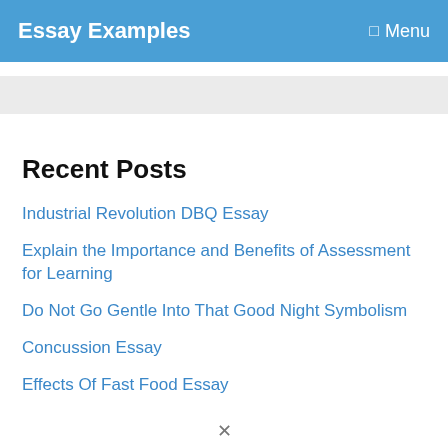Essay Examples   ☰ Menu
Recent Posts
Industrial Revolution DBQ Essay
Explain the Importance and Benefits of Assessment for Learning
Do Not Go Gentle Into That Good Night Symbolism
Concussion Essay
Effects Of Fast Food Essay